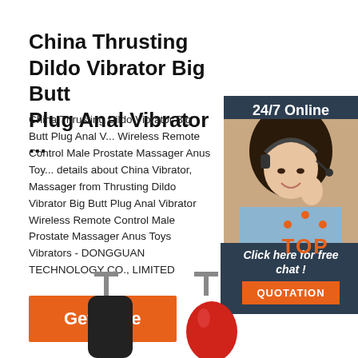China Thrusting Dildo Vibrator Big Butt Plug Anal Vibrator ...
China Thrusting Dildo Vibrator Big Butt Plug Anal Vibrator Wireless Remote Control Male Prostate Massager Anus Toys, Find details about China Vibrator, Massager from Thrusting Dildo Vibrator Big Butt Plug Anal Vibrator Wireless Remote Control Male Prostate Massager Anus Toys Vibrators - DONGGUAN TECHNOLOGY CO., LIMITED
[Figure (photo): Woman with headset smiling, with '24/7 Online' header, 'Click here for free chat!' text, and orange QUOTATION button on dark navy background sidebar]
[Figure (infographic): Orange 'TOP' button with orange dots arranged in arc above the text]
[Figure (photo): Product images at bottom: black cylindrical plug and red plug on stands]
Get Price